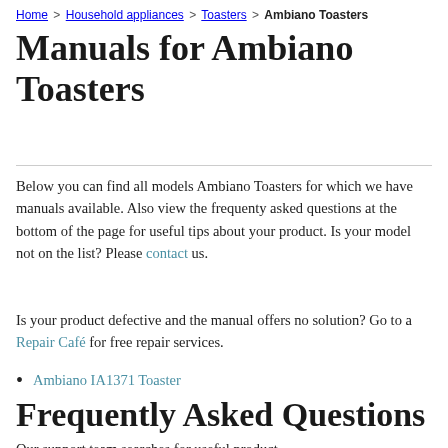Home > Household appliances > Toasters > Ambiano Toasters
Manuals for Ambiano Toasters
Below you can find all models Ambiano Toasters for which we have manuals available. Also view the frequenty asked questions at the bottom of the page for useful tips about your product. Is your model not on the list? Please contact us.
Is your product defective and the manual offers no solution? Go to a Repair Café for free repair services.
Ambiano IA1371 Toaster
Frequently Asked Questions
Our support team searches for useful product